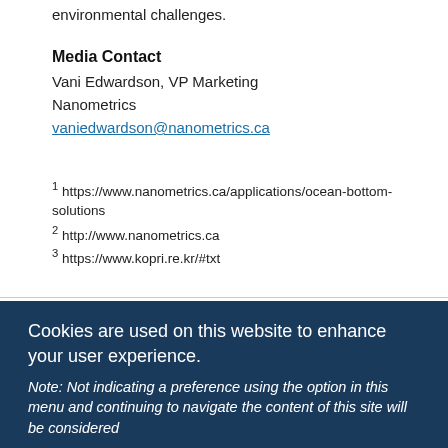environmental challenges.
Media Contact
Vani Edwardson, VP Marketing
Nanometrics
vaniedwardson@nanometrics.ca
1 https://www.nanometrics.ca/applications/ocean-bottom-solutions
2 http://www.nanometrics.ca
3 https://www.kopri.re.kr/#txt
Ocean-bottom / Pegasus Ocean Bottom Digital
Cookies are used on this website to enhance your user experience.
Note: Not indicating a preference using the option in this menu and continuing to navigate the content of this site will be considered